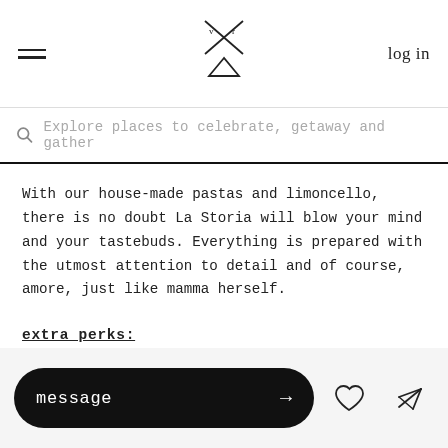log in
Explore places to celebrate, getaway and gather
With our house-made pastas and limoncello, there is no doubt La Storia will blow your mind and your tastebuds. Everything is prepared with the utmost attention to detail and of course, amore, just like mamma herself.
extra perks:
White linens, printed menus with the option to personalize them with a custom picture or quote, and